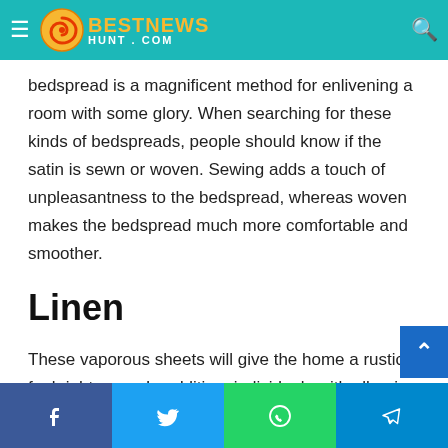BestNewsHunt.com
...manufactured with the help of synthetic fibers known for their feel. Like silk, adding a glossy bedspread is a magnificent method for enlivening a room with some glory. When searching for these kinds of bedspreads, people should know if the satin is sewn or woven. Sewing adds a touch of unpleasantness to the bedspread, whereas woven makes the bedspread much more comfortable and smoother.
Linen
These vaporous sheets will give the home a rustic feel right away. In addition, individuals with allergies and hot sleepers are incredibly profitable from them as the cloth is hypoallergenic and naturally cooling material.
Facebook | Twitter | WhatsApp | Telegram